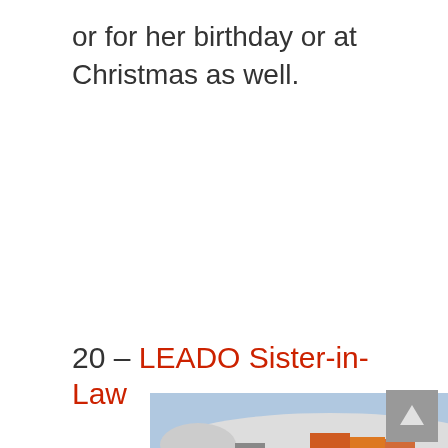or for her birthday or at Christmas as well.
20 – LEADO Sister-in-Law
[Figure (photo): Photo of cargo being loaded onto a Southwest Airlines airplane on the tarmac, with a yellow/red banner reading 'WITHOUT REGARD TO POLITICS, RELIGION, OR ABILITY TO PAY']